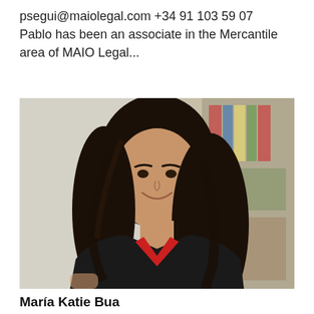psegui@maiolegal.com +34 91 103 59 07    Pablo has been an associate in the Mercantile area of MAIO Legal...
[Figure (photo): Professional headshot of María Katie Bua, a woman with long dark wavy hair, wearing a black blazer over a red top, smiling, with bookshelves in the background.]
María Katie Bua